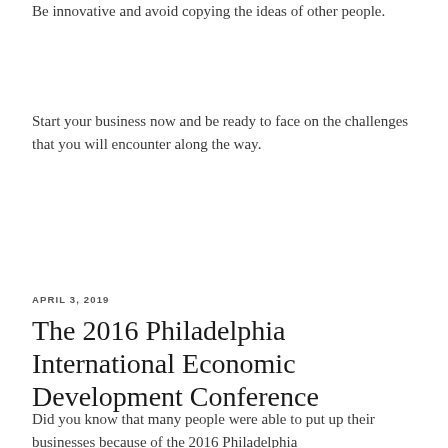Be innovative and avoid copying the ideas of other people.
Start your business now and be ready to face on the challenges that you will encounter along the way.
APRIL 3, 2019
The 2016 Philadelphia International Economic Development Conference
Did you know that many people were able to put up their businesses because of the 2016 Philadelphia